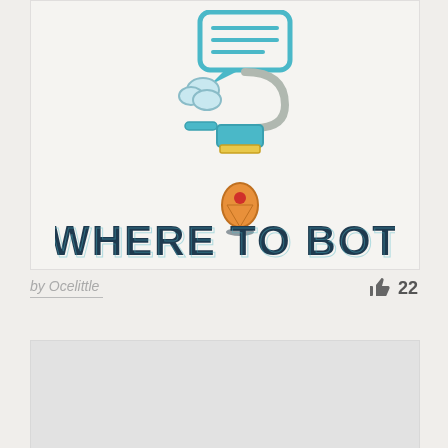[Figure (logo): WHERE TO BOT logo with illustrated robot/chatbot icon above bold dark navy text reading WHERE TO BOT, on a light textured background]
by Ocelittle
22
[Figure (other): Light gray blank card/image area at bottom of page]